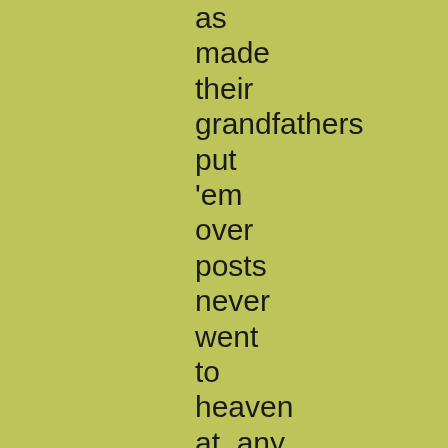as made their grandfathers put 'em over posts never went to heaven at  any price.

By this time the housekeeper